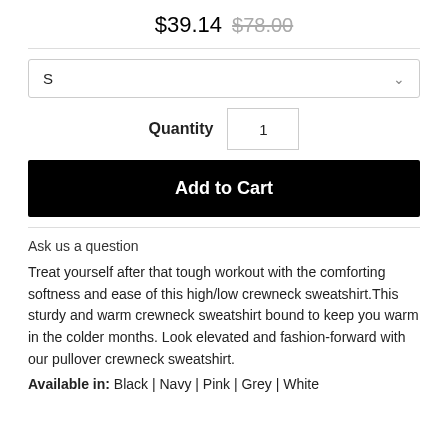$39.14  $78.00
S
Quantity  1
Add to Cart
Ask us a question
Treat yourself after that tough workout with the comforting softness and ease of this high/low crewneck sweatshirt.This sturdy and warm crewneck sweatshirt bound to keep you warm in the colder months. Look elevated and fashion-forward with our pullover crewneck sweatshirt.
Available in: Black | Navy | Pink | Grey | White